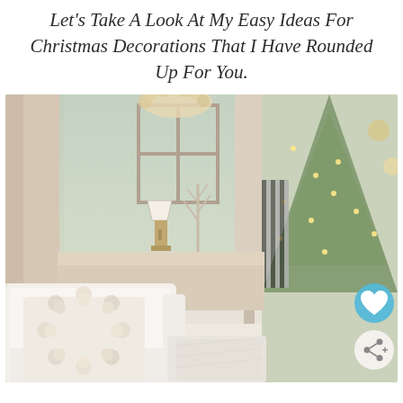Let's Take A Look At My Easy Ideas For Christmas Decorations That I Have Rounded Up For You.
[Figure (photo): A cozy white living room decorated for Christmas. Upper half shows a console table with a lamp, a twig tree decoration, and a black-and-white striped Christmas tree on the right side. Lower half shows a white armchair with a cream pom-pom wreath pillow and a fuzzy throw blanket, with the Christmas tree visible on the right. Social media heart and share icons are overlaid on the right side.]